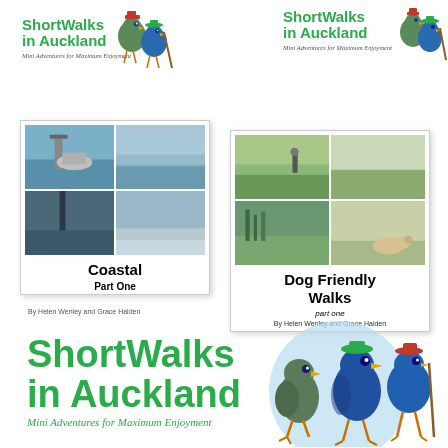[Figure (logo): Short Walks in Auckland logo - top left, small size with two cartoon birds and tagline]
[Figure (logo): Short Walks in Auckland logo - top right, small size with tagline Mini Adventures for Maximum Enjoyment]
[Figure (illustration): Coastal Part One book cover - photo collage of coastal scenes, title Coastal, subtitle Part One, authors Helen Wenley and Grace Halden]
[Figure (illustration): Dog Friendly Walks part one book cover - photo collage of dog-friendly outdoor scenes, title Dog Friendly Walks, subtitle part one, authors By Helen Wenley and Grace Halden]
By Helen Wenley and Grace Halden
[Figure (logo): Large Short Walks in Auckland logo at bottom - green text with cartoon pukeko birds and tagline Mini Adventures for Maximum Enjoyment]